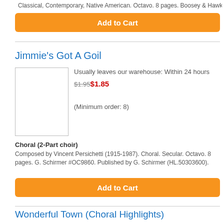Classical, Contemporary, Native American. Octavo. 8 pages. Boosey & Hawkes
Add to Cart
Jimmie's Got A Goil
[Figure (other): Product image placeholder for Jimmie's Got A Goil sheet music]
Usually leaves our warehouse: Within 24 hours
$1.95$1.85
(Minimum order: 8)
Choral (2-Part choir)
Composed by Vincent Persichetti (1915-1987). Choral. Secular. Octavo. 8 pages. G. Schirmer #OC9860. Published by G. Schirmer (HL.50303600).
Add to Cart
Wonderful Town (Choral Highlights)
Usually leaves our warehouse: Within 24